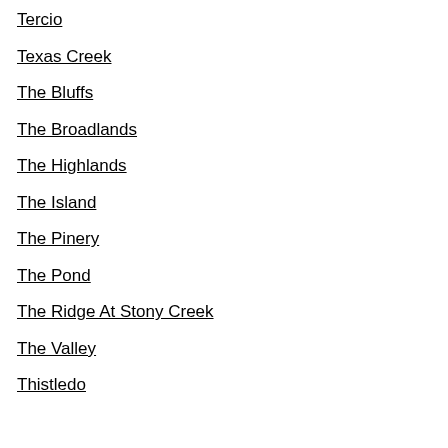Tercio
Texas Creek
The Bluffs
The Broadlands
The Highlands
The Island
The Pinery
The Pond
The Ridge At Stony Creek
The Valley
Thistledo…